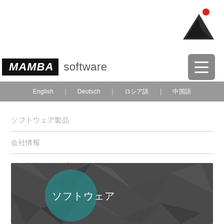[Figure (logo): Mamba Software triangular logo mark with red dot above two black triangles, top right corner]
MAMBA software
[Figure (other): Hamburger menu button (three horizontal lines) in gray rounded rectangle]
English | Deutsch | ロシア語 | 中国語
ソフトウェア製品
会社情報
パートナーシップ
[Figure (illustration): Dark geometric polygon background banner with teal circle highlight and white Japanese text 'ソフトウェア']